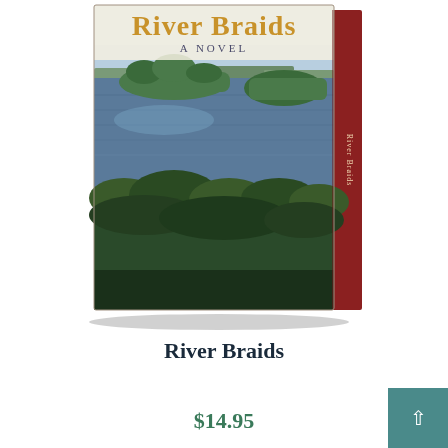[Figure (photo): Book cover of 'River Braids: A Novel' showing a river landscape with forested islands and bluffs, title in golden text at top, subtitle 'A NOVEL' below, book shown in 3D perspective with red spine visible]
River Braids
$14.95